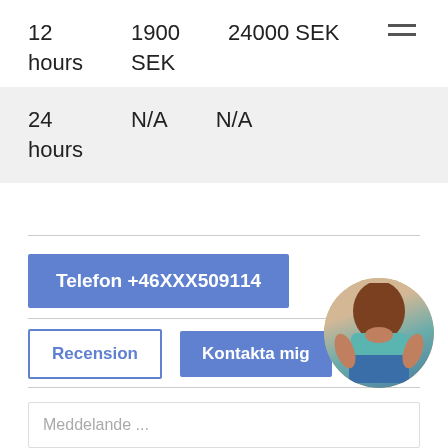12 hours   1900 SEK   24000 SEK
24 hours   N/A   N/A
Telefon +46XXX509114
Recension
Kontakta mig
[Figure (photo): Circular avatar photo of a woman in a blue top and denim shorts, viewed from behind, crouching]
Meddelande ...